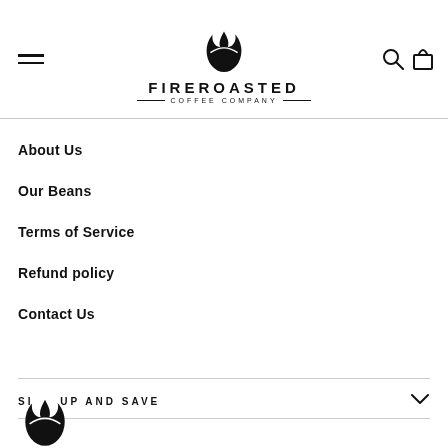[Figure (logo): FireRoasted Coffee Company logo with flame icon, bold uppercase FIREROASTED text, and COFFEE COMPANY subtitle with decorative lines]
About Us
Our Beans
Terms of Service
Refund policy
Contact Us
SIGN UP AND SAVE
[Figure (logo): Partial FireRoasted Coffee Company flame logo at bottom of page]